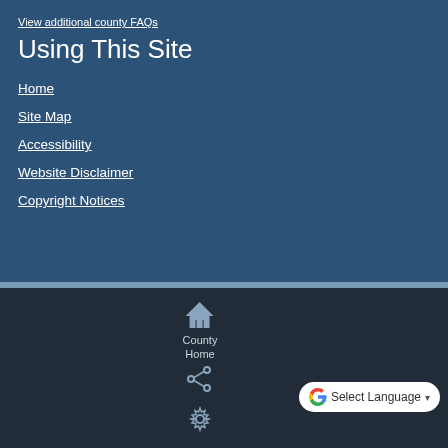View additional county FAQs
Using This Site
Home
Site Map
Accessibility
Website Disclaimer
Copyright Notices
[Figure (infographic): County Home icon (house silhouette) with label 'County Home' below it, share icon, and settings/gear icon in a dark footer bar]
Select Language